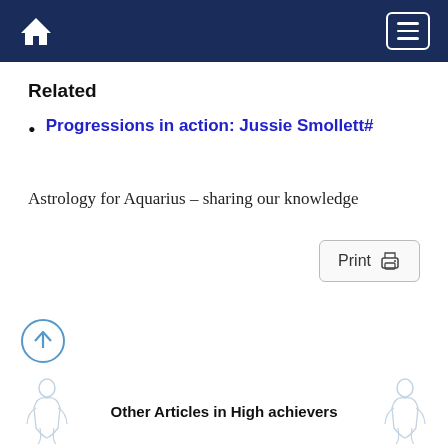Home | Menu
Related
Progressions in action: Jussie Smollett#
Astrology for Aquarius – sharing our knowledge
[Figure (other): Print button with printer icon]
[Figure (other): Scroll-to-top circular arrow button icon]
[Figure (illustration): Two faint line-art figures of a seated person (Aquarius water-bearer), one on the left and one on the right]
Other Articles in High achievers